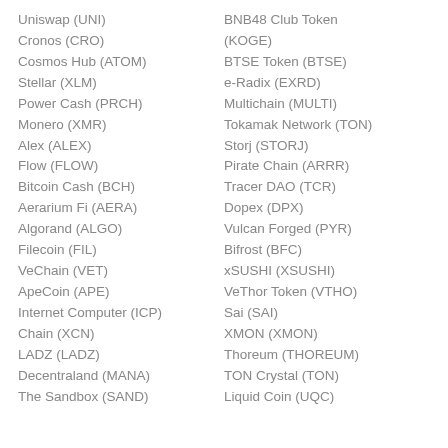Uniswap (UNI)
Cronos (CRO)
Cosmos Hub (ATOM)
Stellar (XLM)
Power Cash (PRCH)
Monero (XMR)
Alex (ALEX)
Flow (FLOW)
Bitcoin Cash (BCH)
Aerarium Fi (AERA)
Algorand (ALGO)
Filecoin (FIL)
VeChain (VET)
ApeCoin (APE)
Internet Computer (ICP)
Chain (XCN)
LADZ (LADZ)
Decentraland (MANA)
The Sandbox (SAND)
BNB48 Club Token (KOGE)
BTSE Token (BTSE)
e-Radix (EXRD)
Multichain (MULTI)
Tokamak Network (TON)
Storj (STORJ)
Pirate Chain (ARRR)
Tracer DAO (TCR)
Dopex (DPX)
Vulcan Forged (PYR)
Bifrost (BFC)
xSUSHI (XSUSHI)
VeThor Token (VTHO)
Sai (SAI)
XMON (XMON)
Thoreum (THOREUM)
TON Crystal (TON)
Liquid Coin (UQC)